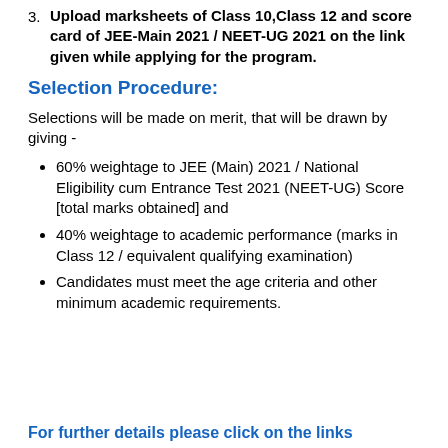3. Upload marksheets of Class 10,Class 12 and score card of JEE-Main 2021 / NEET-UG 2021 on the link given while applying for the program.
Selection Procedure:
Selections will be made on merit, that will be drawn by giving -
60% weightage to JEE (Main) 2021 / National Eligibility cum Entrance Test 2021 (NEET-UG) Score [total marks obtained] and
40% weightage to academic performance (marks in Class 12 / equivalent qualifying examination)
Candidates must meet the age criteria and other minimum academic requirements.
For further details please click on the links